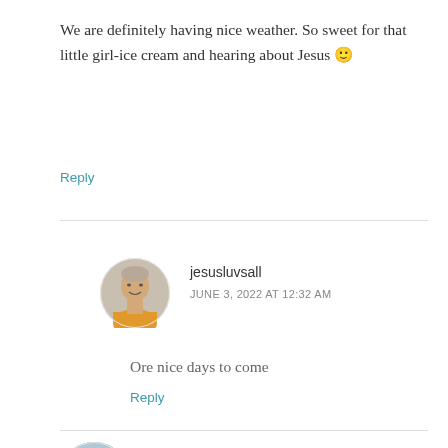We are definitely having nice weather. So sweet for that little girl-ice cream and hearing about Jesus 🙂
Reply
[Figure (photo): Circular avatar photo of jesusluvsall user, person in orange shirt]
jesusluvsall
JUNE 3, 2022 AT 12:32 AM
Ore nice days to come
Reply
[Figure (photo): Circular avatar photo of bigskybuckeye user, outdoor scene]
bigskybuckeye